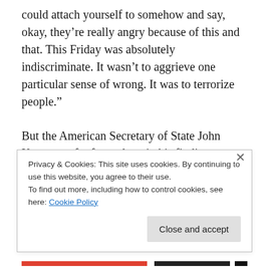could attach yourself to somehow and say, okay, they’re really angry because of this and that. This Friday was absolutely indiscriminate. It wasn’t to aggrieve one particular sense of wrong. It was to terrorize people.”
But the American Secretary of State John Kerry was far from alone in his finding a separate set of rules for the Charlie Hebdo and Hyper Cacher terror murders from the Friday 13th terror murders from last month. Gérard Araud, the French Ambassador to the United States made a
Privacy & Cookies: This site uses cookies. By continuing to use this website, you agree to their use.
To find out more, including how to control cookies, see here: Cookie Policy